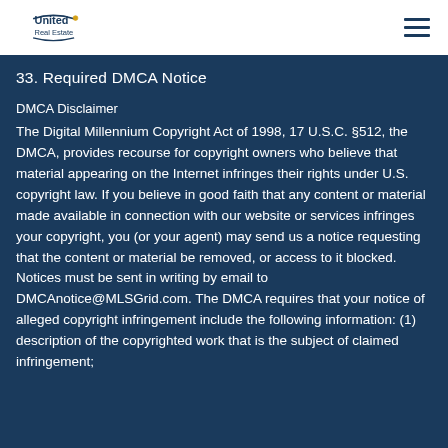United Real Estate [logo] [hamburger menu]
33. Required DMCA Notice
DMCA Disclaimer
The Digital Millennium Copyright Act of 1998, 17 U.S.C. §512, the DMCA, provides recourse for copyright owners who believe that material appearing on the Internet infringes their rights under U.S. copyright law. If you believe in good faith that any content or material made available in connection with our website or services infringes your copyright, you (or your agent) may send us a notice requesting that the content or material be removed, or access to it blocked. Notices must be sent in writing by email to DMCAnotice@MLSGrid.com. The DMCA requires that your notice of alleged copyright infringement include the following information: (1) description of the copyrighted work that is the subject of claimed infringement; (2) description of the alleged infringing content and information sufficient to permit us to locate the content;